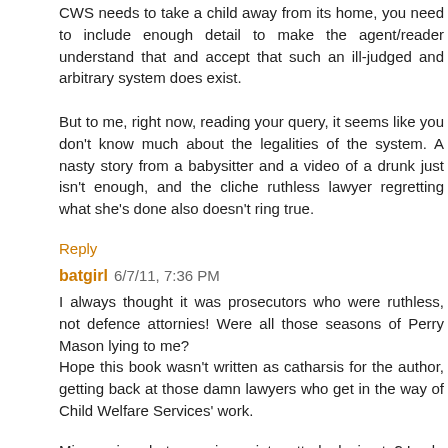CWS needs to take a child away from its home, you need to include enough detail to make the agent/reader understand that and accept that such an ill-judged and arbitrary system does exist.
But to me, right now, reading your query, it seems like you don't know much about the legalities of the system. A nasty story from a babysitter and a video of a drunk just isn't enough, and the cliche ruthless lawyer regretting what she's done also doesn't ring true.
Reply
batgirl 6/7/11, 7:36 PM
I always thought it was prosecutors who were ruthless, not defence attornies! Were all those seasons of Perry Mason lying to me?
Hope this book wasn't written as catharsis for the author, getting back at those damn lawyers who get in the way of Child Welfare Services' work.
Minor, minor, but annoying point – utterly decimate? Look